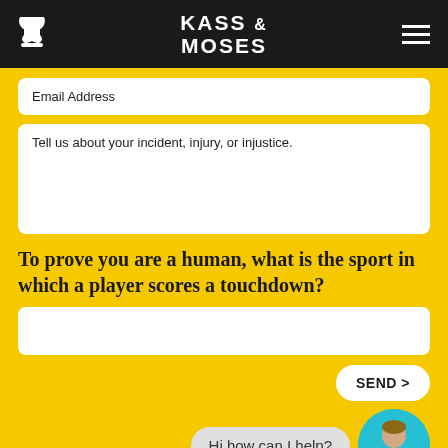[Figure (logo): Kass & Moses law firm logo with phone icon and hamburger menu in dark header]
Email Address
Tell us about your incident, injury, or injustice.
To prove you are a human, what is the sport in which a player scores a touchdown?
SEND >
Hi how can I help?
About The Team
Motorcycle Claims